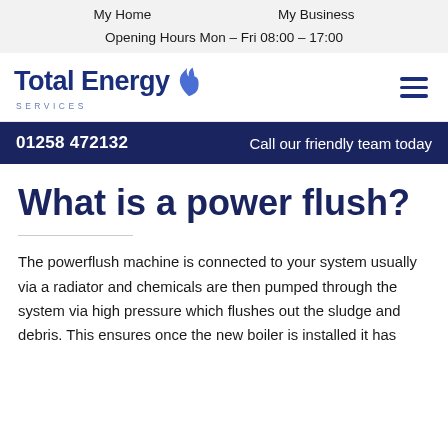My Home    My Business    Opening Hours Mon – Fri 08:00 – 17:00
[Figure (logo): Total Energy Services logo with blue flame icon]
01258 472132    Call our friendly team today
What is a power flush?
The powerflush machine is connected to your system usually via a radiator and chemicals are then pumped through the system via high pressure which flushes out the sludge and debris. This ensures once the new boiler is installed it has